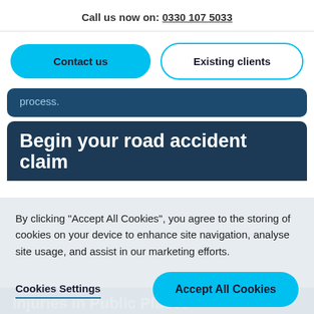Call us now on: 0330 107 5033
Contact us
Existing clients
process.
Begin your road accident claim
By clicking "Accept All Cookies", you agree to the storing of cookies on your device to enhance site navigation, analyse site usage, and assist in our marketing efforts.
Cookies Settings
Accept All Cookies
Injuries in Public Places